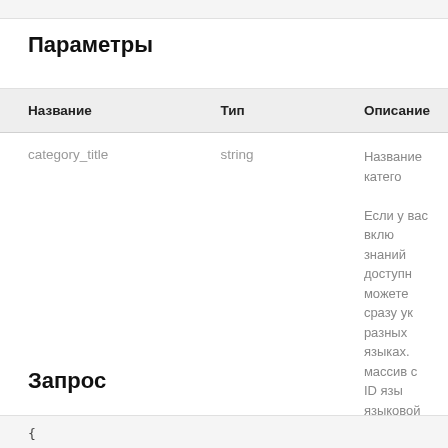Параметры
| Название | Тип | Описание |
| --- | --- | --- |
| category_title | string | Название катего
Если у вас вклю знаний доступн можете сразу ук разных языках. массив с ID язы языковой верси |
Запрос
{